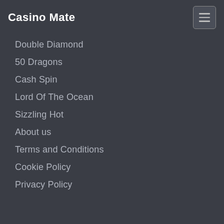Casino Mate
Double Diamond
50 Dragons
Cash Spin
Lord Of The Ocean
Sizzling Hot
About us
Terms and Conditions
Cookie Policy
Privacy Policy